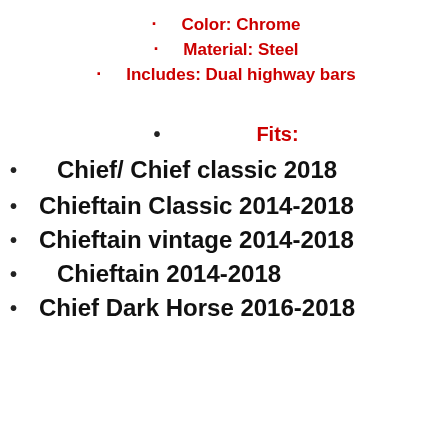Color: Chrome
Material: Steel
Includes: Dual highway bars
Fits:
Chief/ Chief classic 2018
Chieftain Classic 2014-2018
Chieftain vintage 2014-2018
Chieftain 2014-2018
Chief Dark Horse 2016-2018